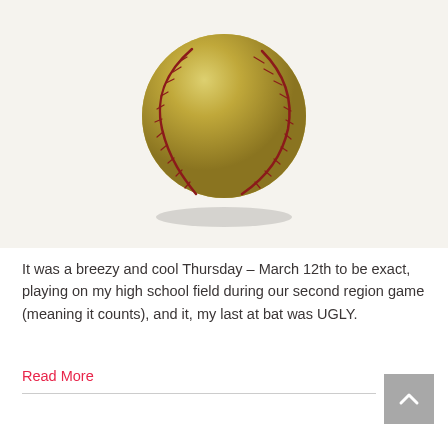[Figure (photo): A worn, yellowed/golden-colored baseball with red stitching, photographed against a light cream/off-white background with a subtle shadow beneath it.]
It was a breezy and cool Thursday – March 12th to be exact, playing on my high school field during our second region game (meaning it counts), and it, my last at bat was UGLY.
Read More